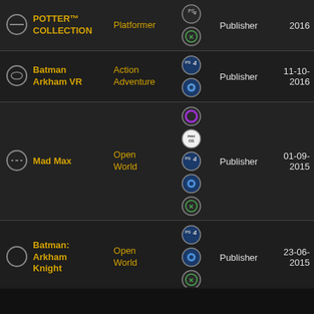|  | Title | Genre | Platforms | Publisher | Date |
| --- | --- | --- | --- | --- | --- |
|  | POTTER™ COLLECTION | Platformer | PS4, Xbox | Publisher | 2016 |
|  | Batman Arkham VR | Action Adventure | PS4, Steam | Publisher | 11-10-2016 |
|  | Mad Max | Open World | Oculus, macOS, PS4, Steam, Xbox | Publisher | 01-09-2015 |
|  | Batman: Arkham Knight | Open World | PS4, Steam, Xbox | Publisher | 23-06-2015 |
|  | Mortal... | 3D... | PS4 |  | 07-0... |